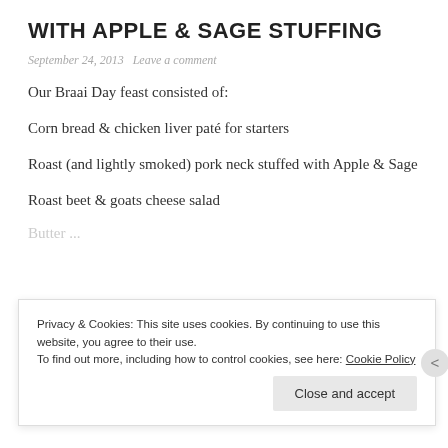WITH APPLE & SAGE STUFFING
September 24, 2013   Leave a comment
Our Braai Day feast consisted of:
Corn bread & chicken liver paté for starters
Roast (and lightly smoked) pork neck stuffed with Apple & Sage
Roast beet & goats cheese salad
Privacy & Cookies: This site uses cookies. By continuing to use this website, you agree to their use. To find out more, including how to control cookies, see here: Cookie Policy
Close and accept